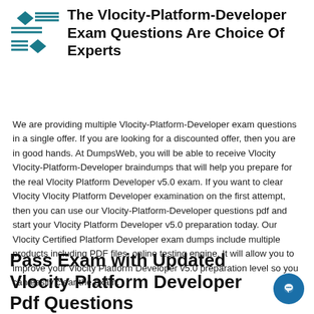The Vlocity-Platform-Developer Exam Questions Are Choice Of Experts
We are providing multiple Vlocity-Platform-Developer exam questions in a single offer. If you are looking for a discounted offer, then you are in good hands. At DumpsWeb, you will be able to receive Vlocity Vlocity-Platform-Developer braindumps that will help you prepare for the real Vlocity Platform Developer v5.0 exam. If you want to clear Vlocity Vlocity Platform Developer examination on the first attempt, then you can use our Vlocity-Platform-Developer questions pdf and start your Vlocity Platform Developer v5.0 preparation today. Our Vlocity Certified Platform Developer exam dumps include multiple products including PDF files, online testing engine. It will allow you to improve your Vlocity Platform Developer v5.0 preparation level so you can easily clear the exam.
Pass Exam with Updated Vlocity Platform Developer Pdf Questions